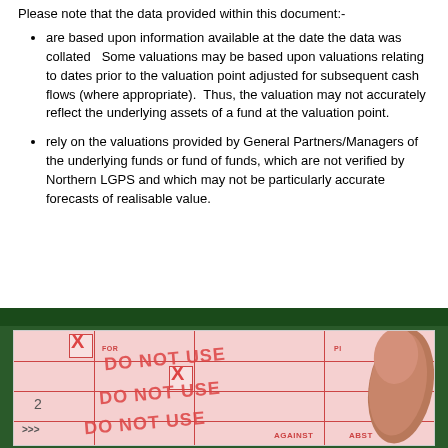Please note that the data provided within this document:-
are based upon information available at the date the data was collated   Some valuations may be based upon valuations relating to dates prior to the valuation point adjusted for subsequent cash flows (where appropriate).  Thus, the valuation may not accurately reflect the underlying assets of a fund at the valuation point.
rely on the valuations provided by General Partners/Managers of the underlying funds or fund of funds, which are not verified by Northern LGPS and which may not be particularly accurate forecasts of realisable value.
[Figure (photo): Photo of a ballot paper showing 'DO NOT USE' text stamped across voting boxes, with a finger pointing at the ballot. Dark green header bar above the photo.]